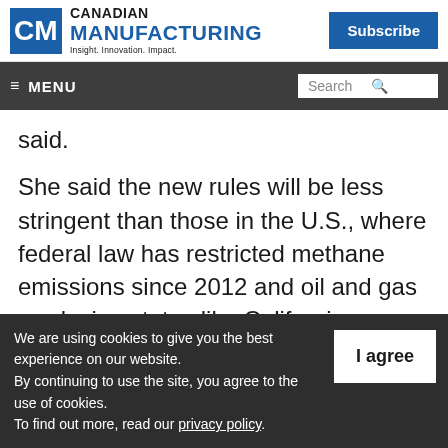Canadian Manufacturing — Insight. Innovation. Impact. | Subscribe
≡ MENU | Search
said.
She said the new rules will be less stringent than those in the U.S., where federal law has restricted methane emissions since 2012 and oil and gas producing states like California, Colorado, and Wyoming have added their own
We are using cookies to give you the best experience on our website. By continuing to use the site, you agree to the use of cookies. To find out more, read our privacy policy.